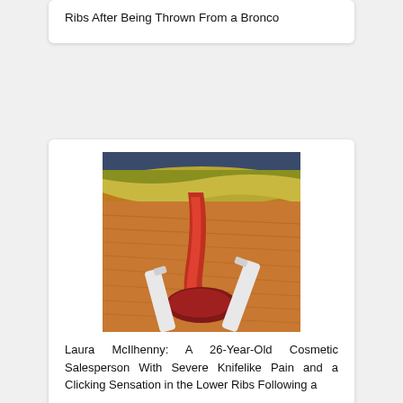Ribs After Being Thrown From a Bronco
[Figure (photo): Surgical/anatomical photograph showing an operative view of injured rib tissue with red hemorrhagic tissue and surgical instruments visible, surrounded by orange-tan muscle tissue]
Laura McIlhenny: A 26-Year-Old Cosmetic Salesperson With Severe Knifelike Pain and a Clicking Sensation in the Lower Ribs Following a